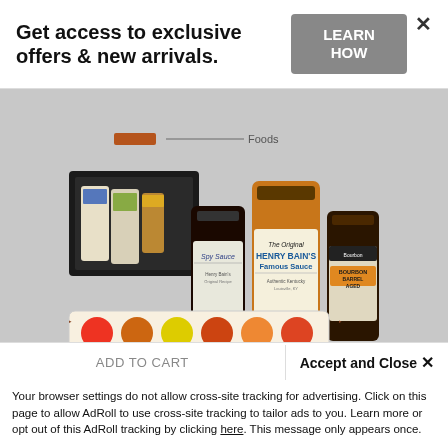Get access to exclusive offers & new arrivals.
LEARN HOW
[Figure (photo): Product photo showing a gift box set: Kentucky Proud Flavors of Bourbon Country, including bottles of Spy Sauce, Henry Bain's Famous Sauce, bourbon-barrel aged sauce, miniature jars, and a colorful sampler strip.]
GIFT BOX – KENTUCKY PROUD FLAVORS OF BOURBON COUNTRY
$55.00 $52.00
ADD TO CART
Accept and Close ✕
Your browser settings do not allow cross-site tracking for advertising. Click on this page to allow AdRoll to use cross-site tracking to tailor ads to you. Learn more or opt out of this AdRoll tracking by clicking here. This message only appears once.